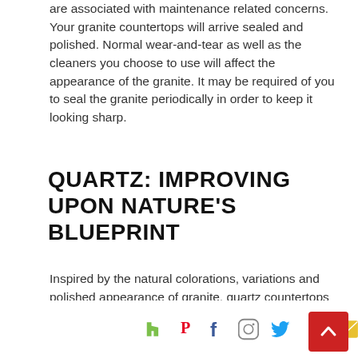are associated with maintenance related concerns. Your granite countertops will arrive sealed and polished. Normal wear-and-tear as well as the cleaners you choose to use will affect the appearance of the granite. It may be required of you to seal the granite periodically in order to keep it looking sharp.
QUARTZ: IMPROVING UPON NATURE'S BLUEPRINT
Inspired by the natural colorations, variations and polished appearance of granite, quartz countertops go a step further in minimizing some of the maintenance woes commonly associated with granite or other natural stone surfaces. Quartz is a man-made product that is approximately 90% natural stone aggregate and 10% acrylic resins and polymer. This formulation achieves the realistic visual of natural stone mottling and graining while incorporating the maintenance benefits of being encased within a synthetic resin. The authenticity of this stone replica is accomplished by the scale of the natural aggregate that is used in the production of quartz. Above and beyond aggregate... nite compositing